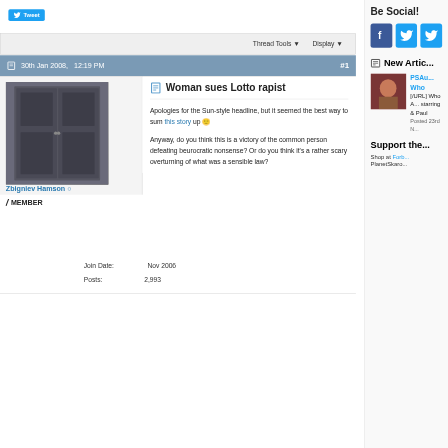[Figure (other): Twitter Tweet button with bird logo]
Thread Tools ▼   Display ▼
30th Jan 2008,   12:19 PM   #1
[Figure (photo): Black and white photo of double doors, user avatar for Zbigniev Hamson]
Zbigniev Hamson ○
/ MEMBER
Join Date: Nov 2006
Posts: 2,993
📄 Woman sues Lotto rapist
Apologies for the Sun-style headline, but it seemed the best way to sum this story up 🙂
Anyway, do you think this is a victory of the common person defeating beurocratic nonsense? Or do you think it's a rather scary overturning of what was a sensible law?
Be Social!
[Figure (other): Facebook and Twitter social icons]
📰 New Artic...
[Figure (photo): Thumbnail photo for PSAu... Who article]
PSAu... Who
[/URL] Who A... starring & Paul
Posted 23rd N...
Support the...
Shop at Forb... PlanetSkaro...